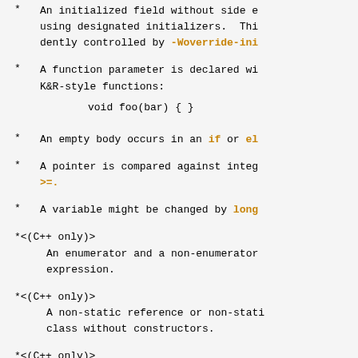An initialized field without side e... using designated initializers. Thi... dently controlled by -Woverride-ini
A function parameter is declared wi... K&R-style functions:
    void foo(bar) { }
An empty body occurs in an if or el...
A pointer is compared against integ... >=.
A variable might be changed by long...
*<(C++ only)>
    An enumerator and a non-enumerator... expression.
*<(C++ only)>
    A non-static reference or non-stati... class without constructors.
*<(C++ only)>
    Ambiguous virtual bases.
*<(C++ only)>